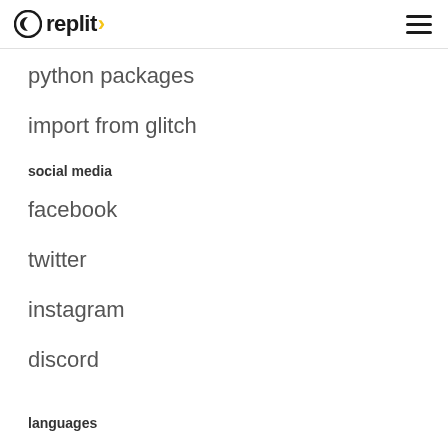replit
python packages
import from glitch
social media
facebook
twitter
instagram
discord
languages
Clojure